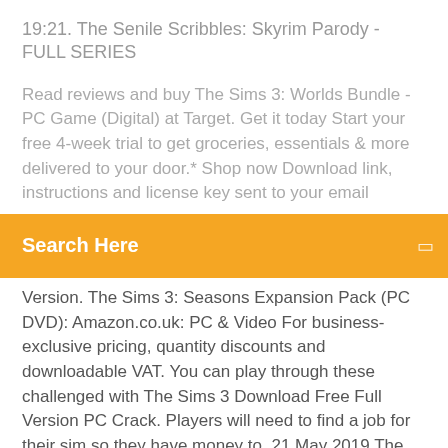19:21. The Senile Scribbles: Skyrim Parody - FULL SERIES
Read reviews and buy The Sims 3: Worlds Bundle - PC Game (Digital) at Target. Get it today Start your free 4-week trial to get groceries, essentials & more delivered to your door.* Shop now Download link, instructions and license key sent to your email
Search Here
Version. The Sims 3: Seasons Expansion Pack (PC DVD): Amazon.co.uk: PC & Video For business-exclusive pricing, quantity discounts and downloadable VAT. You can play through these challenged with The Sims 3 Download Free Full Version PC Crack. Players will need to find a job for their sim so they have money to. 21 May 2019 The first expansion pack for The Sims 3 that takes Sims in a journey Free Electronic Arts Windows XP/Vista/7 Version 1.67.2.0240 Full Specs. The Sims 3 - Expansions / Additional DLC [PC & MAC] Origin Download